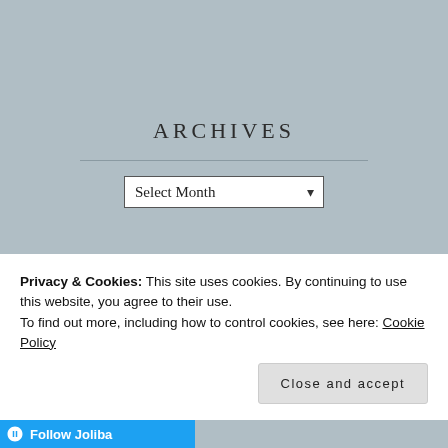ARCHIVES
Select Month
META
Register
Log in
Entries feed
Privacy & Cookies: This site uses cookies. By continuing to use this website, you agree to their use. To find out more, including how to control cookies, see here: Cookie Policy
Close and accept
Follow Joliba